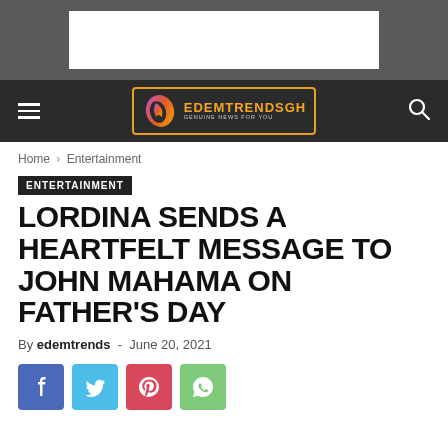[Figure (other): Advertisement banner placeholder (white rectangle on gray background)]
[Figure (logo): EdemTrendsGH logo with flame icon, tagline: Genuine News For You, on dark navbar with hamburger menu and search icon]
Home › Entertainment
ENTERTAINMENT
LORDINA SENDS A HEARTFELT MESSAGE TO JOHN MAHAMA ON FATHER'S DAY
By edemtrends - June 20, 2021
[Figure (infographic): Social share buttons: Facebook (blue), Twitter (light blue), Pinterest (red/pink), WhatsApp (green)]